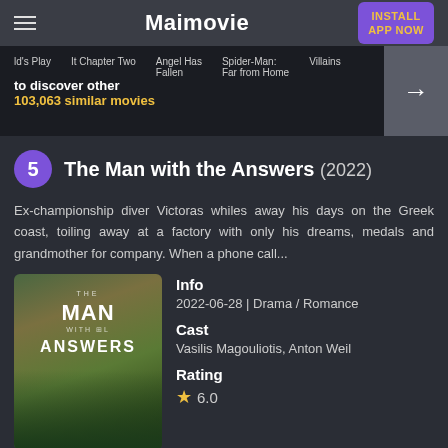Maimovie
[Figure (screenshot): Banner showing movie thumbnails: ld's Play, It Chapter Two, Angel Has Fallen, Spider-Man: Far from Home, Villains. Overlay text: 'to discover other 103,063 similar movies' with arrow button.]
5 The Man with the Answers (2022)
Ex-championship diver Victoras whiles away his days on the Greek coast, toiling away at a factory with only his dreams, medals and grandmother for company. When a phone call...
[Figure (photo): Movie poster for 'The Man with the Answers' showing a person near a forest lake with text MAN and ANSWERS overlaid.]
Info
2022-06-28 | Drama / Romance
Cast
Vasilis Magouliotis, Anton Weil
Rating
★ 6.0